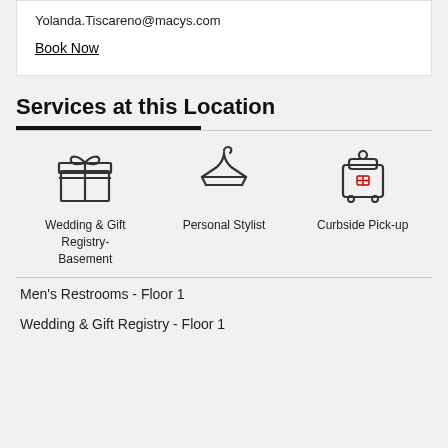Yolanda.Tiscareno@macys.com
Book Now
Services at this Location
[Figure (illustration): Three service icons: Wedding & Gift Registry-Basement (gift box icon), Personal Stylist (hanger icon), Curbside Pick-up (bag/pickup icon)]
Men's Restrooms - Floor 1
Wedding & Gift Registry - Floor 1